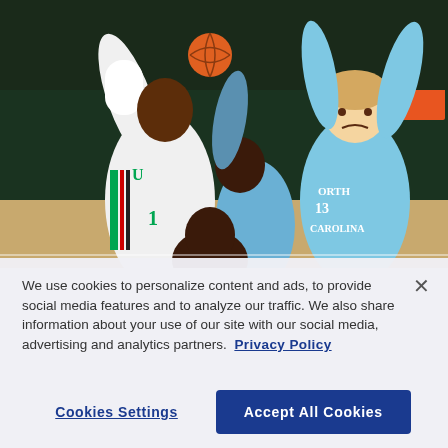[Figure (photo): Basketball game action photo showing Miami player in white uniform (#1) scrambling for the ball against North Carolina players in light blue uniforms (#13 CAROLINA visible), with multiple players reaching for the ball in a crowd scene]
We use cookies to personalize content and ads, to provide social media features and to analyze our traffic. We also share information about your use of our site with our social media, advertising and analytics partners.  Privacy Policy
Cookies Settings
Accept All Cookies